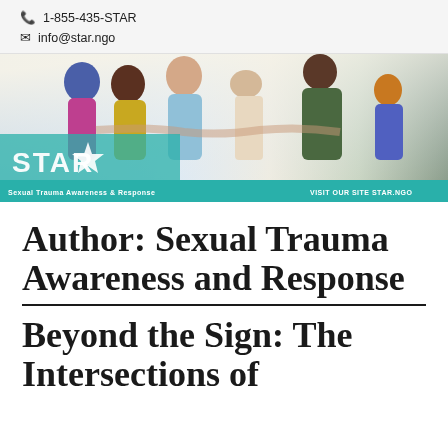1-855-435-STAR
info@star.ngo
[Figure (photo): Banner image showing a group of five people viewed from behind with arms around each other, overlaid with the STAR (Sexual Trauma Awareness and Response) logo. A teal bar at the bottom reads 'Sexual Trauma Awareness & Response' on the left and 'VISIT OUR SITE STAR.NGO' on the right.]
Author: Sexual Trauma Awareness and Response
Beyond the Sign: The Intersections of